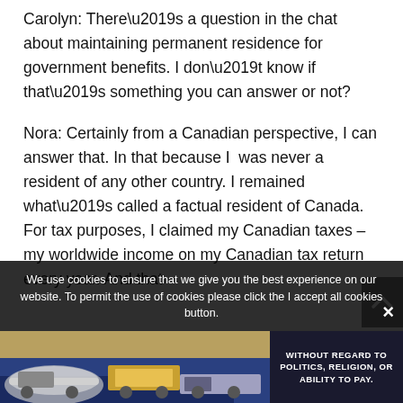Carolyn: There’s a question in the chat about maintaining permanent residence for government benefits. I don’t know if that’s something you can answer or not?
Nora: Certainly from a Canadian perspective, I can answer that. In that because I  was never a resident of any other country. I remained what’s called a factual resident of Canada. For tax purposes, I claimed my Canadian taxes – my worldwide income on my Canadian tax return every year. And that
We use cookies to ensure that we give you the best experience on our website. To permit the use of cookies please click the I accept all cookies button.